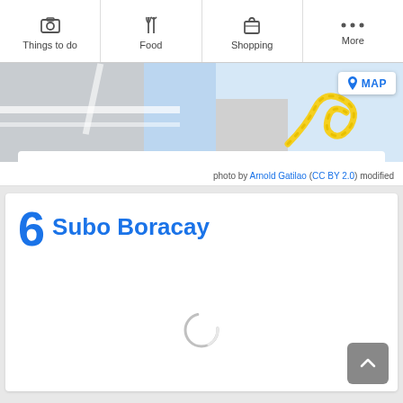Things to do | Food | Shopping | More
[Figure (map): Partial map view showing roads and a MAP button]
photo by Arnold Gatilao (CC BY 2.0) modified
6 Subo Boracay
[Figure (screenshot): Loading spinner circle in the center of the card]